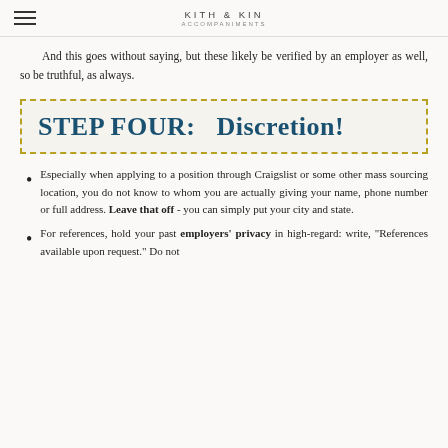KITH & KIN
And this goes without saying, but these likely be verified by an employer as well, so be truthful, as always.
STEP FOUR:   Discretion!
Especially when applying to a position through Craigslist or some other mass sourcing location, you do not know to whom you are actually giving your name, phone number or full address. Leave that off - you can simply put your city and state.
For references, hold your past employers' privacy in high-regard: write, "References available upon request." Do not